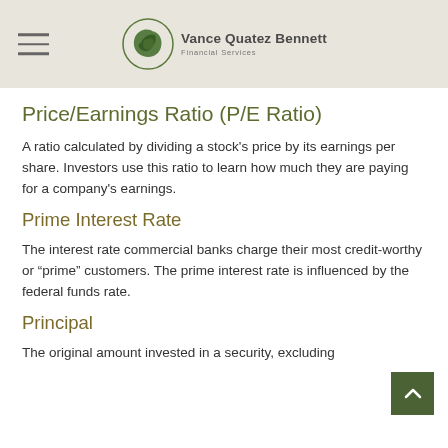Vance Quatez Bennett Financial Services
Price/Earnings Ratio (P/E Ratio)
A ratio calculated by dividing a stock's price by its earnings per share. Investors use this ratio to learn how much they are paying for a company's earnings.
Prime Interest Rate
The interest rate commercial banks charge their most credit-worthy or “prime” customers. The prime interest rate is influenced by the federal funds rate.
Principal
The original amount invested in a security, excluding